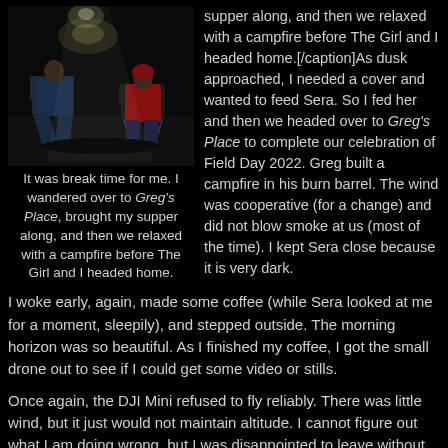[Figure (photo): Nighttime photo of two people sitting around a campfire area, one in a blue chair and one in a red jacket in a camp chair, dark background]
It was break time for me. I wandered over to Greg's Place, brought my supper along, and then we relaxed with a campfire before The Girl and I headed home.
supper along, and then we relaxed with a campfire before The Girl and I headed home.[/caption]As dusk approached, I needed a cover and wanted to feed Sera. So I fed her and then we headed over to Greg's Place to complete our celebration of Field Day 2022. Greg built a campfire in his burn barrel. The wind was cooperative (for a change) and did not blow smoke at us (most of the time). I kept Sera close because it is very dark.
I woke early, again, made some coffee (while Sera looked at me for a moment, sleepily), and stepped outside. The morning horizon was so beautiful. As I finished my coffee, I got the small drone out to see if I could get some video or stills.
Once again, the DJI Mini refused to fly reliably. There was little wind, but it just would not maintain altitude. I cannot figure out what I am doing wrong, but I was disappointed to leave without some aerial images.